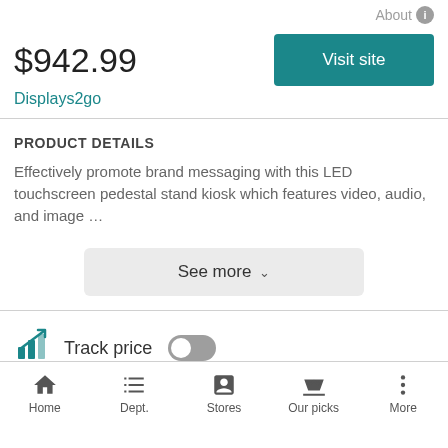About ℹ
$942.99
Displays2go
Visit site
PRODUCT DETAILS
Effectively promote brand messaging with this LED touchscreen pedestal stand kiosk which features video, audio, and image …
See more ∨
Track price
Receive email and browser notifications if the price drops
Home   Dept.   Stores   Our picks   More